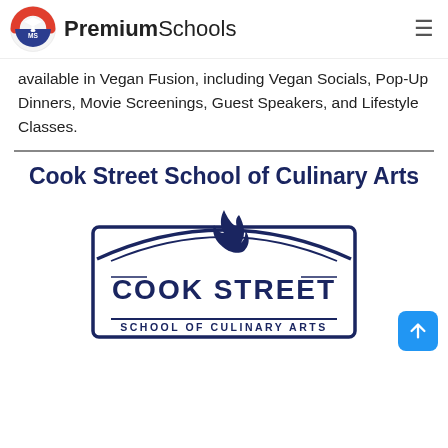PremiumSchools
available in Vegan Fusion, including Vegan Socials, Pop-Up Dinners, Movie Screenings, Guest Speakers, and Lifestyle Classes.
Cook Street School of Culinary Arts
[Figure (logo): Cook Street School of Culinary Arts logo — a badge/shield shape with a flame and the text COOK STREET / SCHOOL OF CULINARY ARTS in dark navy blue]